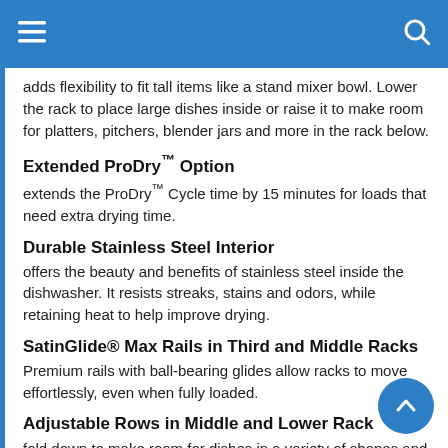≡  🔍
adds flexibility to fit tall items like a stand mixer bowl. Lower the rack to place large dishes inside or raise it to make room for platters, pitchers, blender jars and more in the rack below.
Extended ProDry™ Option
extends the ProDry™ Cycle time by 15 minutes for loads that need extra drying time.
Durable Stainless Steel Interior
offers the beauty and benefits of stainless steel inside the dishwasher. It resists streaks, stains and odors, while retaining heat to help improve drying.
SatinGlide® Max Rails in Third and Middle Racks
Premium rails with ball-bearing glides allow racks to move effortlessly, even when fully loaded.
Adjustable Rows in Middle and Lower Rack
fold down to make room for dishes in a variety of shapes and sizes like roasting pans, serving bowls,